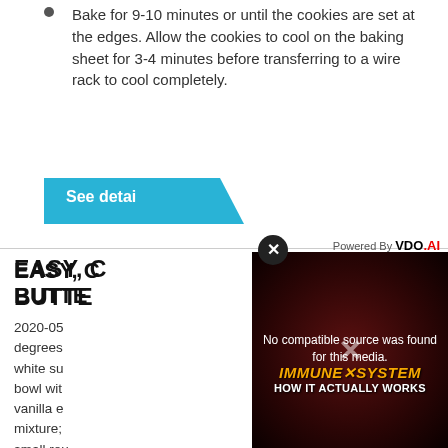Bake for 9-10 minutes or until the cookies are set at the edges. Allow the cookies to cool on the baking sheet for 3-4 minutes before transferring to a wire rack to cool completely.
[Figure (other): A teal/cyan colored button labeled 'See detai' with a diagonal cut on the right side]
[Figure (screenshot): Video player overlay showing 'No compatible source was found for this media.' with a dark background featuring an immune system graphic and text 'IMMUNE SYSTEM HOW IT ACTUALLY WORKS'. A close X button is in the top left and 'Powered By VDO.AI' text appears at top right.]
EASY, C... BUTTE...
2020-05... degrees... white su... bowl wit... vanilla e... mixture; ... small rou... about 2 inches ...